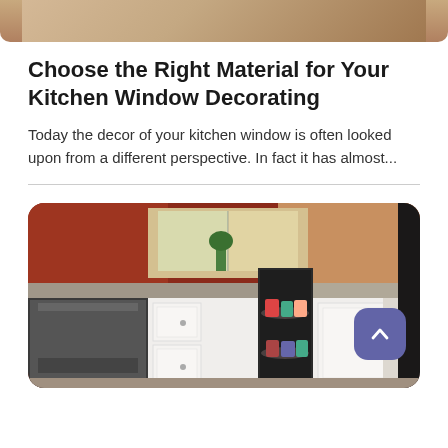[Figure (photo): Top portion of a kitchen photo, showing wooden countertop or flooring, partially visible at the top of the page.]
Choose the Right Material for Your Kitchen Window Decorating
Today the decor of your kitchen window is often looked upon from a different perspective. In fact it has almost...
[Figure (photo): Photo of a kitchen interior showing white cabinets with a corner lazy susan cabinet open revealing canned goods, granite countertops, and dark appliances. A purple scroll-to-top button with a chevron up icon is overlaid in the lower right of the image.]